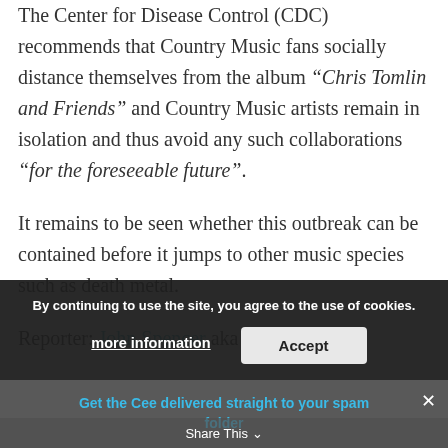The Center for Disease Control (CDC) recommends that Country Music fans socially distance themselves from the album “Chris Tomlin and Friends” and Country Music artists remain in isolation and thus avoid any such collaborations “for the foreseeable future”.
It remains to be seen whether this outbreak can be contained before it jumps to other music species such as death metal.
Reporter: John Spencer aka Not the Bible
By continuing to use the site, you agree to the use of cookies.
more information   Accept
Get the Cee delivered straight to your spam folder
Share This